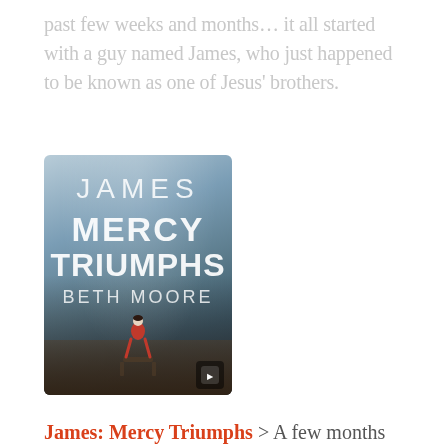past few weeks and months… it all started with a guy named James, who just happened to be known as one of Jesus' brothers.
[Figure (photo): Book cover of 'James: Mercy Triumphs' by Beth Moore. Shows a woman sitting on a bench viewed from behind, overlooking a city skyline with a dramatic cloudy sky. Text on cover reads JAMES / MERCY / TRIUMPHS / BETH MOORE.]
James: Mercy Triumphs > A few months ago I wrote about feeling lonely and unconnected. Being invited to join a women's small group — and the subsequent sense of community that formed — was a significant piece of what changed that. The study itself — Beth